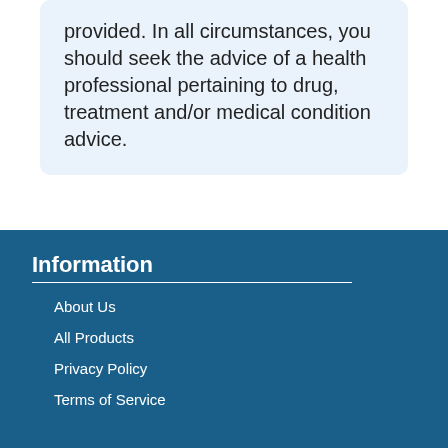provided. In all circumstances, you should seek the advice of a health professional pertaining to drug, treatment and/or medical condition advice.
Information
About Us
All Products
Privacy Policy
Terms of Service